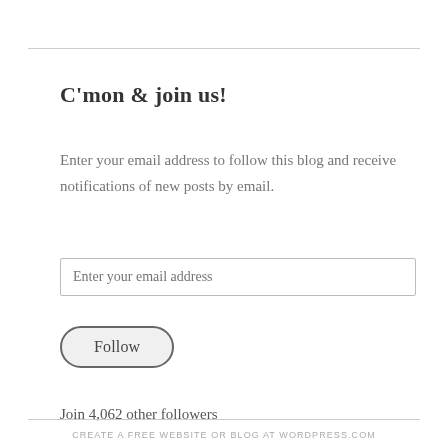C'mon & join us!
Enter your email address to follow this blog and receive notifications of new posts by email.
Enter your email address
Follow
Join 4,062 other followers
CREATE A FREE WEBSITE OR BLOG AT WORDPRESS.COM